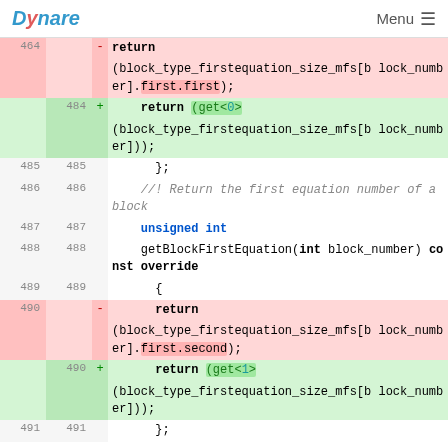Dynare  Menu
[Figure (screenshot): Code diff view showing lines 464-491 of a C++ file. Deleted lines (red) and added lines (green) show refactoring of return statements: .first.first replaced by get<0>(...) and .first.second replaced by get<1>(...) for block_type_firstequation_size_mfs array accesses. Lines 485-489 and 491 are context lines showing }; closing braces, a comment about returning first equation of a block, unsigned int, getBlockFirstEquation(int block_number) const override, and {.]